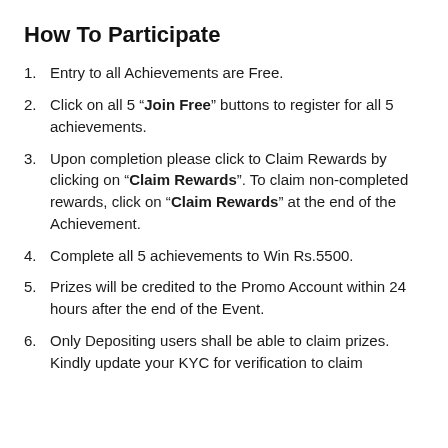How To Participate
Entry to all Achievements are Free.
Click on all 5 "Join Free" buttons to register for all 5 achievements.
Upon completion please click to Claim Rewards by clicking on "Claim Rewards". To claim non-completed rewards, click on "Claim Rewards" at the end of the Achievement.
Complete all 5 achievements to Win Rs.5500.
Prizes will be credited to the Promo Account within 24 hours after the end of the Event.
Only Depositing users shall be able to claim prizes. Kindly update your KYC for verification to claim